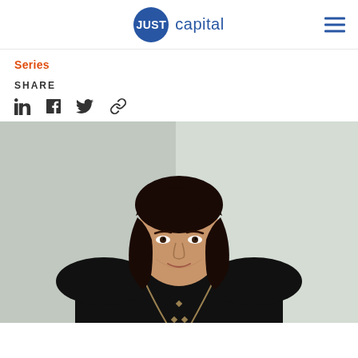JUST capital
Series
SHARE
[Figure (photo): Portrait photo of a woman with dark shoulder-length hair, wearing a black top and a gold chain necklace, photographed against a light gray background in a professional setting.]